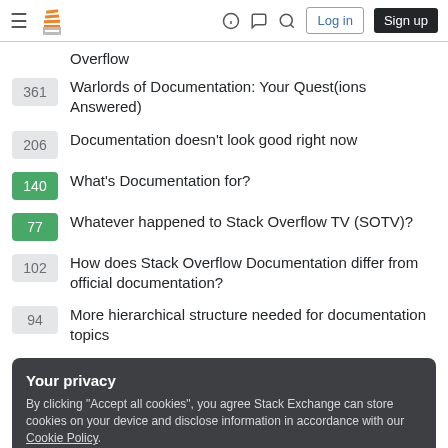Stack Overflow navigation bar with Log in and Sign up buttons
Overflow
361 Warlords of Documentation: Your Quest(ions Answered)
206 Documentation doesn't look good right now
140 What's Documentation for?
77 Whatever happened to Stack Overflow TV (SOTV)?
102 How does Stack Overflow Documentation differ from official documentation?
94 More hierarchical structure needed for documentation topics
Your privacy
By clicking "Accept all cookies", you agree Stack Exchange can store cookies on your device and disclose information in accordance with our Cookie Policy.
Accept all cookies  Customize settings
Hot Network Questions